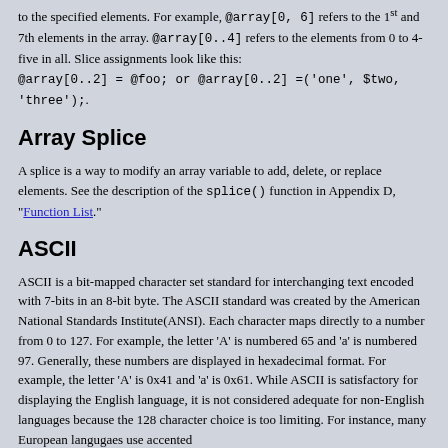to the specified elements. For example, @array[0, 6] refers to the 1st and 7th elements in the array. @array[0..4] refers to the elements from 0 to 4-five in all. Slice assignments look like this: @array[0..2] = @foo; or @array[0..2] =('one', $two, 'three');.
Array Splice
A splice is a way to modify an array variable to add, delete, or replace elements. See the description of the splice() function in Appendix D, "Function List."
ASCII
ASCII is a bit-mapped character set standard for interchanging text encoded with 7-bits in an 8-bit byte. The ASCII standard was created by the American National Standards Institute(ANSI). Each character maps directly to a number from 0 to 127. For example, the letter 'A' is numbered 65 and 'a' is numbered 97. Generally, these numbers are displayed in hexadecimal format. For example, the letter 'A' is 0x41 and 'a' is 0x61. While ASCII is satisfactory for displaying the English language, it is not considered adequate for non-English languages because the 128 character choice is too limiting. For instance, many European langugaes use accented